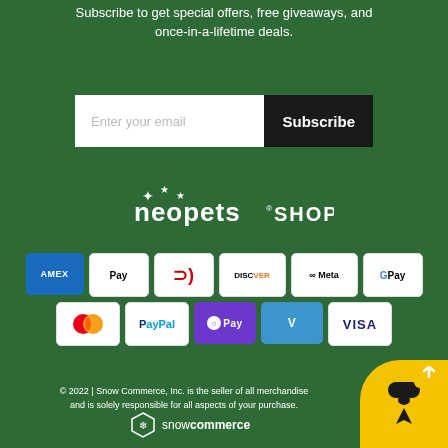Subscribe to get special offers, free giveaways, and once-in-a-lifetime deals.
[Figure (screenshot): Email subscription form with text input placeholder 'Enter your email' and a black 'Subscribe' button]
[Figure (logo): Neopets SHOP logo in white text with stars]
[Figure (infographic): Payment method badges: AMEX, Apple Pay, Diners Club, Discover, Meta Pay, Google Pay, Mastercard, PayPal, OPay, Venmo, Visa]
© 2022 | Snow Commerce, Inc. is the seller of all merchandise and is solely responsible for all aspects of your purchase.
[Figure (logo): Snow Commerce logo with hexagon snowflake icon and text 'snowcommerce']